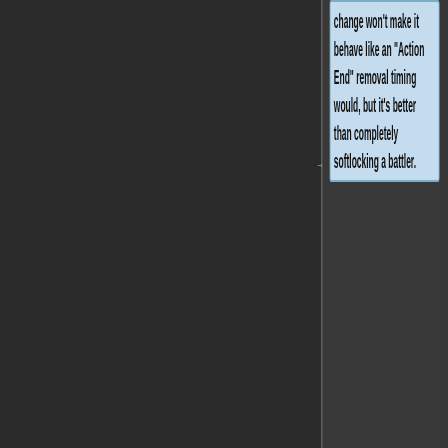change won't make it behave like an "Action End" removal timing would, but it's better than completely softlocking a battler.
* Feature Update!
** Those using "Cannot Move" states with "Action End" auto-removal will now have be automatically converted into "Turn End" auto-removal if...